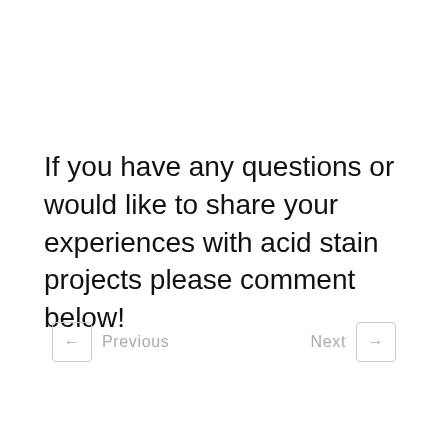If you have any questions or would like to share your experiences with acid stain projects please comment below!
← Previous   Next →
[Figure (photo): Circular profile photo of a bearded man, partially visible, with a light outdoor background. Below a diagonal striped border bar.]